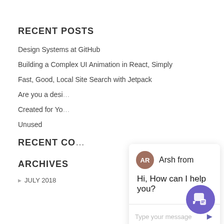RECENT POSTS
Design Systems at GitHub
Building a Complex UI Animation in React, Simply
Fast, Good, Local Site Search with Jetpack
Are you a desi…
Created for Yo…
Unused
RECENT CO…
ARCHIVES
JULY 2018
[Figure (screenshot): Chat widget overlay showing agent 'Arsh from' with avatar initials AR, message 'Hi, How can I help you?', a message input placeholder 'Type your message', a send arrow button, and a close X button in top right. A purple chat bubble button appears at bottom right of page.]